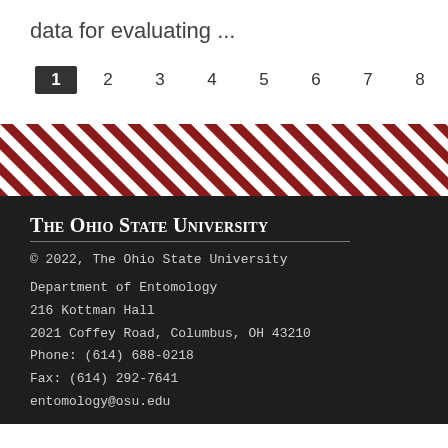data for evaluating ...
1 2 3 4 5 6 7 8 9 … next › last »
[Figure (other): Diagonal red and white stripe decorative band]
The Ohio State University
© 2022, The Ohio State University
Department of Entomology
216 Kottman Hall
2021 Coffey Road, Columbus, OH 43210
Phone: (614) 688-0218
Fax: (614) 292-7641
entomology@osu.edu